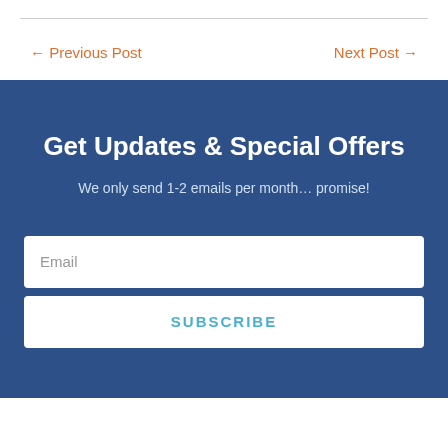← Previous Post
Next Post →
Get Updates & Special Offers
We only send 1-2 emails per month… promise!
Email
SUBSCRIBE